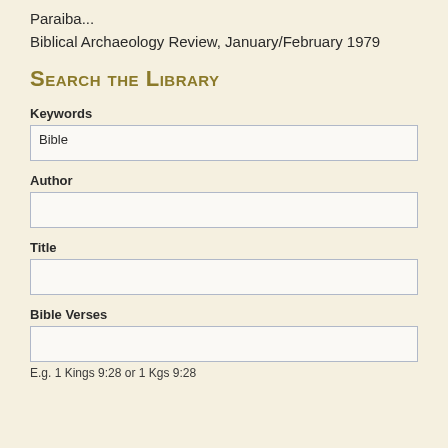Paraiba...
Biblical Archaeology Review, January/February 1979
Search the Library
Keywords
Bible
Author
Title
Bible Verses
E.g. 1 Kings 9:28 or 1 Kgs 9:28